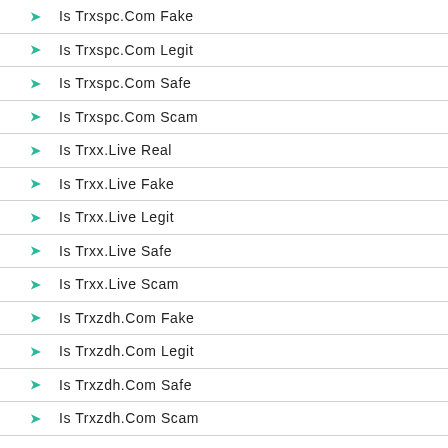Is Trxspc.Com Fake
Is Trxspc.Com Legit
Is Trxspc.Com Safe
Is Trxspc.Com Scam
Is Trxx.Live Real
Is Trxx.Live Fake
Is Trxx.Live Legit
Is Trxx.Live Safe
Is Trxx.Live Scam
Is Trxzdh.Com Fake
Is Trxzdh.Com Legit
Is Trxzdh.Com Safe
Is Trxzdh.Com Scam